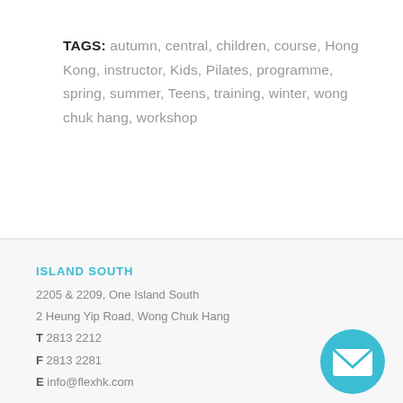TAGS: autumn, central, children, course, Hong Kong, instructor, Kids, Pilates, programme, spring, summer, Teens, training, winter, wong chuk hang, workshop
ISLAND SOUTH
2205 & 2209, One Island South
2 Heung Yip Road, Wong Chuk Hang
T 2813 2212
F 2813 2281
E info@flexhk.com